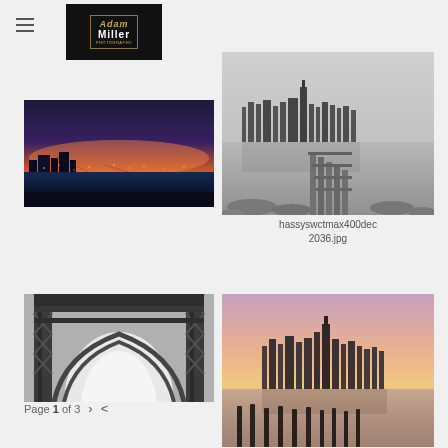[Figure (logo): Adam Miller photography logo — black background with gold border, gold italic 'Adam' and white 'Miller' text]
[Figure (photo): Aerial cityscape at sunset/dusk showing a city skyline and bridges with orange and blue sky, city lights below]
[Figure (photo): Black and white long-exposure photo of Manhattan skyline viewed from across the water with a pier/dock in the foreground]
hassyswctmax400dec2036.jpg
[Figure (photo): Black and white photo looking up under a large suspension or arch bridge showing structural steel arches and trusses]
[Figure (photo): Color photo of Manhattan skyline at golden hour/sunset with old wooden pier pilings in the foreground water]
Page 1 of 3